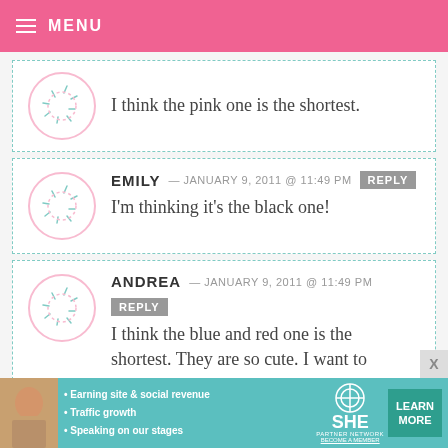MENU
I think the pink one is the shortest.
EMILY — JANUARY 9, 2011 @ 11:49 PM REPLY
I'm thinking it's the black one!
ANDREA — JANUARY 9, 2011 @ 11:49 PM REPLY
I think the blue and red one is the shortest. They are so cute. I want to
[Figure (infographic): SHE Partner Network advertisement banner with woman photo, bullet points about earning site, traffic growth, speaking on stages, SHE logo, and Learn More button]